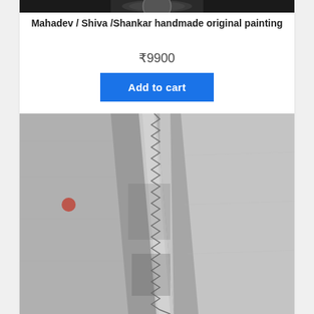[Figure (photo): Top portion of a product image showing dark background with partial circular logo/emblem]
Mahadev / Shiva /Shankar handmade original painting
₹9900
Add to cart
[Figure (photo): Close-up photo of a serrated metal blade/saw edge against a grey concrete or stone surface, with a small red mark visible on the left side]